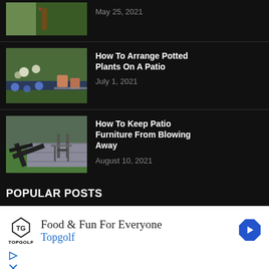[Figure (photo): Top partial thumbnail of a garden/patio area with a concrete path and greenery]
May 25, 2021
[Figure (photo): Thumbnail of a garden patio with colorful potted flowers including blue hyacinths and white daffodils]
How To Arrange Potted Plants On A Patio
July 1, 2021
[Figure (photo): Thumbnail of patio furniture being blown over by wind on a stone patio with grass]
How To Keep Patio Furniture From Blowing Away
August 10, 2021
POPULAR POSTS
[Figure (other): Advertisement for Topgolf: Food & Fun For Everyone with Topgolf logo and navigation arrow icon]